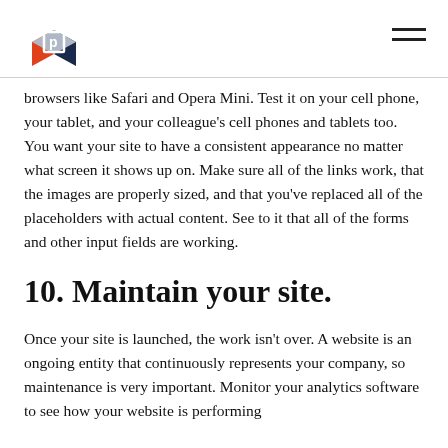[Logo and navigation]
browsers like Safari and Opera Mini. Test it on your cell phone, your tablet, and your colleague's cell phones and tablets too. You want your site to have a consistent appearance no matter what screen it shows up on. Make sure all of the links work, that the images are properly sized, and that you've replaced all of the placeholders with actual content. See to it that all of the forms and other input fields are working.
10. Maintain your site.
Once your site is launched, the work isn't over. A website is an ongoing entity that continuously represents your company, so maintenance is very important. Monitor your analytics software to see how your website is performing